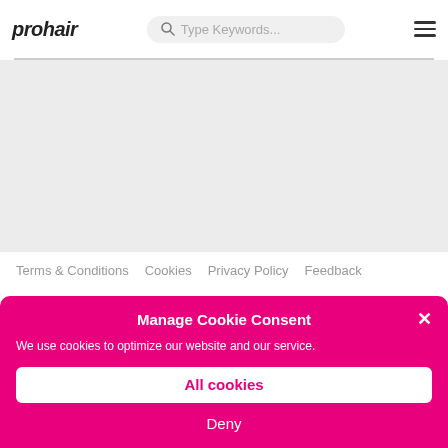prohair — Type Keywords... [search] [menu]
[Figure (screenshot): Gray content area below header, representing a web page content region]
Terms & Conditions   Cookies   Privacy Policy   Feedback
Manage Cookie Consent
We use cookies to optimize our website and our service.
All cookies
Deny